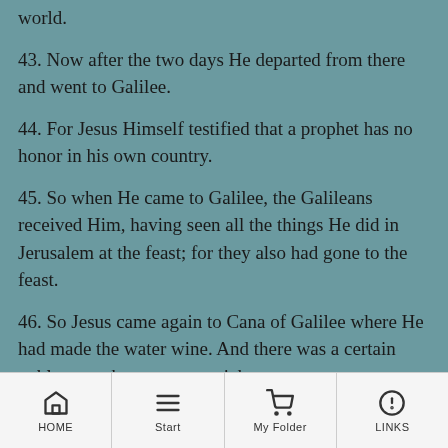world.
43. Now after the two days He departed from there and went to Galilee.
44. For Jesus Himself testified that a prophet has no honor in his own country.
45. So when He came to Galilee, the Galileans received Him, having seen all the things He did in Jerusalem at the feast; for they also had gone to the feast.
46. So Jesus came again to Cana of Galilee where He had made the water wine. And there was a certain nobleman whose son was sick at
HOME | Start | My Folder | LINKS